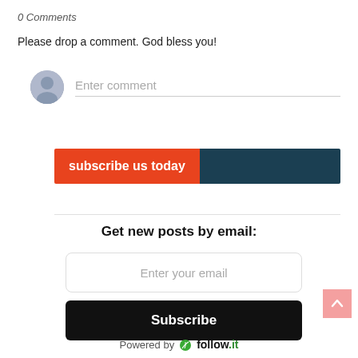0 Comments
Please drop a comment. God bless you!
[Figure (illustration): User avatar circle (gray silhouette) with comment input placeholder text 'Enter comment' and underline]
[Figure (infographic): Two-tone banner: orange section with 'subscribe us today' text, teal/dark blue section]
Get new posts by email:
[Figure (screenshot): Email input box with placeholder 'Enter your email']
[Figure (infographic): Black Subscribe button with white bold text 'Subscribe']
Powered by follow.it